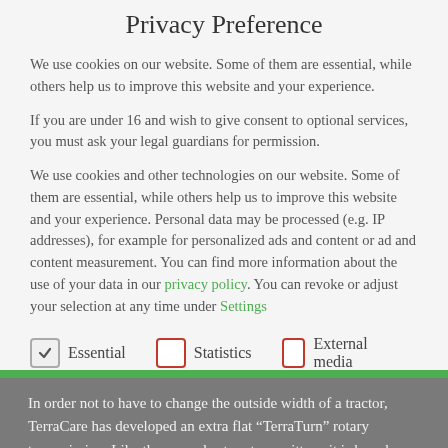Privacy Preference
We use cookies on our website. Some of them are essential, while others help us to improve this website and your experience.
If you are under 16 and wish to give consent to optional services, you must ask your legal guardians for permission.
We use cookies and other technologies on our website. Some of them are essential, while others help us to improve this website and your experience. Personal data may be processed (e.g. IP addresses), for example for personalized ads and content or ad and content measurement. You can find more information about the use of your data in our privacy policy. You can revoke or adjust your selection at any time under Settings
Essential (checked)
Statistics (unchecked)
External media (unchecked)
In order not to have to change the outside width of a tractor, TerraCare has developed an extra flat “TerraTurn” rotary transmission. Like the normal rotary transmitters, it is based on the same sealing technology, but is much